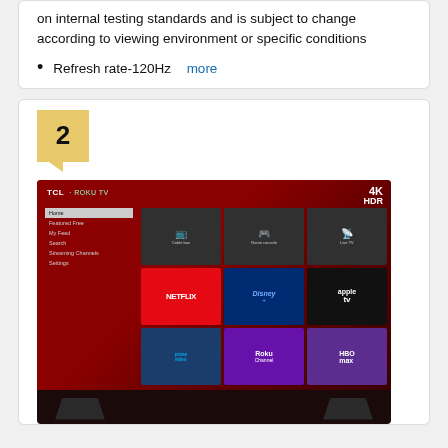on internal testing standards and is subject to change according to viewing environment or specific conditions
Refresh rate-120Hz  more
[Figure (photo): TCL Roku TV product image showing a smart TV with Roku home screen interface displaying apps including Netflix, Disney+, Apple TV, Prime Video, Roku Channel, HBO Max, Cable box, Game console, and Live TV options. TV shows 4K HDR badge in upper right corner.]
2